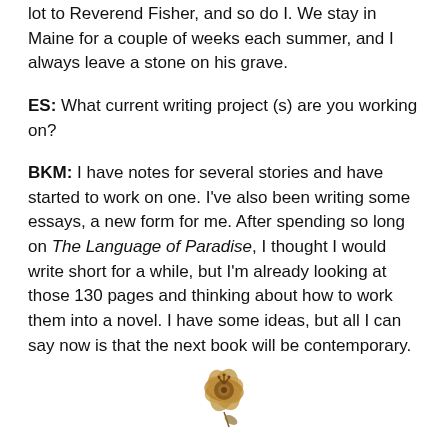lot to Reverend Fisher, and so do I. We stay in Maine for a couple of weeks each summer, and I always leave a stone on his grave.
ES: What current writing project (s) are you working on?
BKM: I have notes for several stories and have started to work on one. I've also been writing some essays, a new form for me. After spending so long on The Language of Paradise, I thought I would write short for a while, but I'm already looking at those 130 pages and thinking about how to work them into a novel. I have some ideas, but all I can say now is that the next book will be contemporary.
[Figure (illustration): A small decorative flower illustration, brown/golden colored, centered at the bottom of the page.]